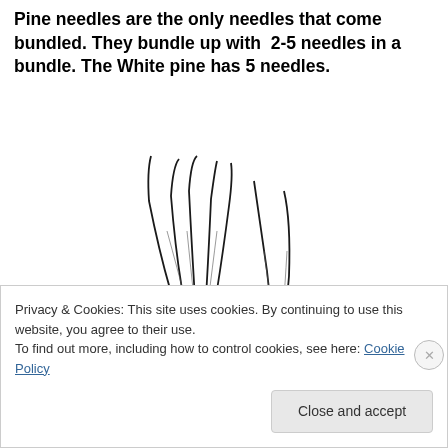Pine needles are the only needles that come bundled. They bundle up with 2-5 needles in a bundle. The White pine has 5 needles.
[Figure (illustration): Black and white line drawing of bundled pine needles, showing two groups of needles bound together at the base.]
bundled pine needles
Privacy & Cookies: This site uses cookies. By continuing to use this website, you agree to their use.
To find out more, including how to control cookies, see here: Cookie Policy